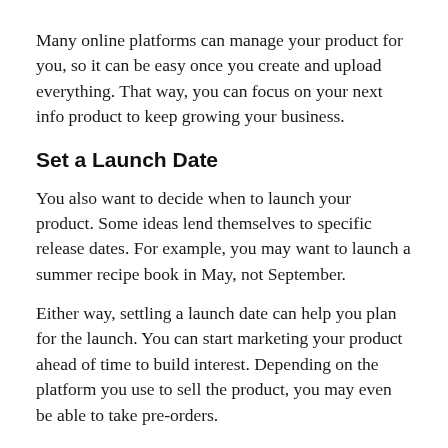Many online platforms can manage your product for you, so it can be easy once you create and upload everything. That way, you can focus on your next info product to keep growing your business.
Set a Launch Date
You also want to decide when to launch your product. Some ideas lend themselves to specific release dates. For example, you may want to launch a summer recipe book in May, not September.
Either way, settling a launch date can help you plan for the launch. You can start marketing your product ahead of time to build interest. Depending on the platform you use to sell the product, you may even be able to take pre-orders.